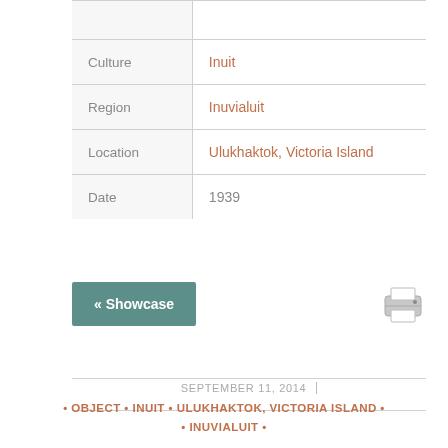| Field | Value |
| --- | --- |
| Culture | Inuit |
| Region | Inuvialuit |
| Location | Ulukhaktok, Victoria Island |
| Date | 1939 |
« Showcase
[Figure (other): Printer icon]
SEPTEMBER 11, 2014
• OBJECT • INUIT • ULUKHAKTOK, VICTORIA ISLAND • INUVIALUIT •